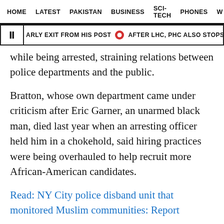HOME  LATEST  PAKISTAN  BUSINESS  SCI-TECH  PHONES  W
ARLY EXIT FROM HIS POST  🔴  AFTER LHC, PHC ALSO STOPS FCA COLLECTION  🔴
while being arrested, straining relations between police departments and the public.
Bratton, whose own department came under criticism after Eric Garner, an unarmed black man, died last year when an arresting officer held him in a chokehold, said hiring practices were being overhauled to help recruit more African-American candidates.
Read: NY City police disband unit that monitored Muslim communities: Report
For instance, it can take as many as four years between the time an applicant takes the police entrance exam and actually gets a job offer - with half of applicants dropping